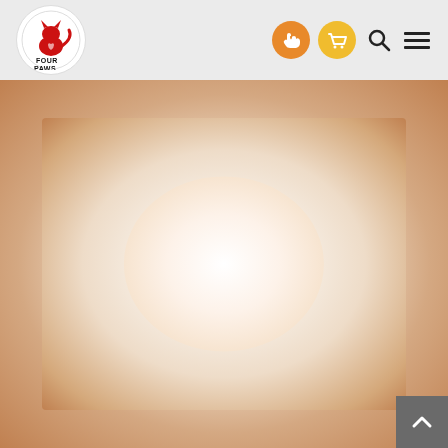[Figure (logo): Four Paws logo: circular white background with red cat/paw illustration and 'FOUR PAWS' text in black]
[Figure (infographic): Navigation header icons: orange circle with hand/heart icon (donate), yellow circle with shopping cart icon, search magnifier icon, hamburger menu icon]
[Figure (photo): Blurred product image with warm orange-brown border/frame effect and lighter center, showing a Four Paws product label that is heavily blurred/out of focus]
[Figure (infographic): Back-to-top button: dark gray square with white upward chevron arrow in bottom-right corner]